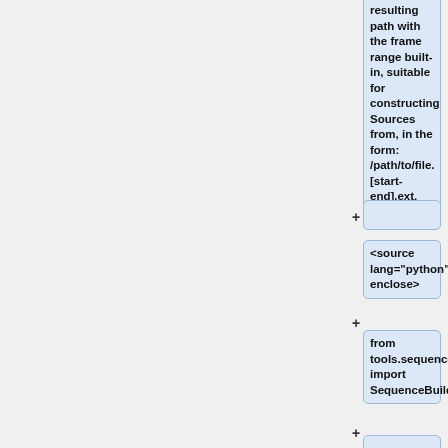resulting path with the frame range built-in, suitable for constructing Sources from, in the form: <b>/path/to/file.[start-end].ext</b>.
+
<source lang="python" enclose>
+
from tools.sequenceBuilder import SequenceBuilder
+